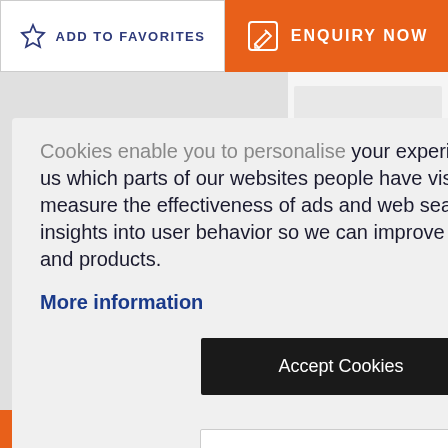[Figure (screenshot): Add to Favorites button with star icon, white background, dark blue text]
[Figure (screenshot): Enquiry Now button with edit icon, orange background, white text]
Cookies enable you to personalise your experience on our site, tell us which parts of our websites people have visited, help us measure the effectiveness of ads and web searches, and give us insights into user behavior so we can improve our communications and products.
More information
[Figure (screenshot): Accept Cookies button, black background, white text]
[Figure (screenshot): Customise Cookies button, white background, dark text]
operty... *
n being used
dded to our
[Figure (screenshot): Enquiry Now! orange button at bottom of page with green circle]